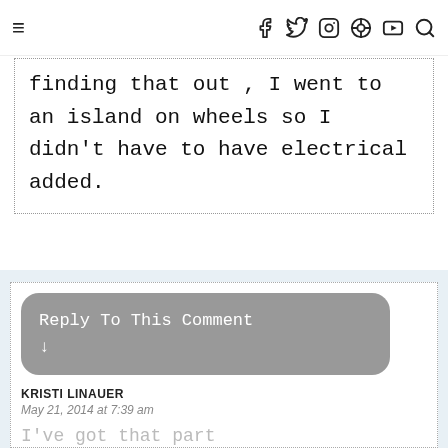≡ f t IG ⊕ ▶ 🔍
finding that out , I went to an island on wheels so I didn't have to have electrical added.
Reply To This Comment ↓
KRISTI LINAUER
May 21, 2014 at 7:39 am
I've got that part covered. 🙂 My